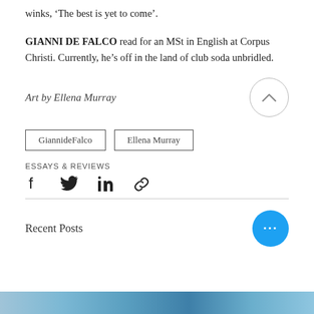winks, ‘The best is yet to come’.
GIANNI DE FALCO read for an MSt in English at Corpus Christi. Currently, he’s off in the land of club soda unbridled.
Art by Ellena Murray
GiannideFalco
Ellena Murray
ESSAYS & REVIEWS
[Figure (infographic): Social share icons: Facebook, Twitter, LinkedIn, and link/chain icon]
Recent Posts